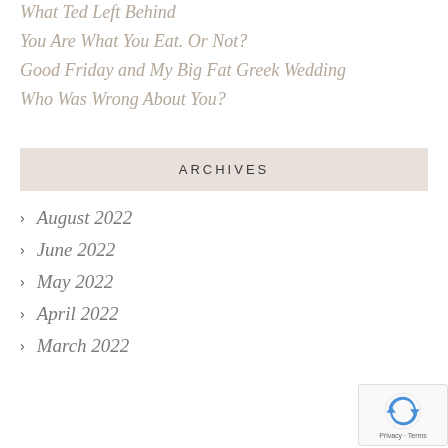What Ted Left Behind
You Are What You Eat. Or Not?
Good Friday and My Big Fat Greek Wedding
Who Was Wrong About You?
ARCHIVES
August 2022
June 2022
May 2022
April 2022
March 2022